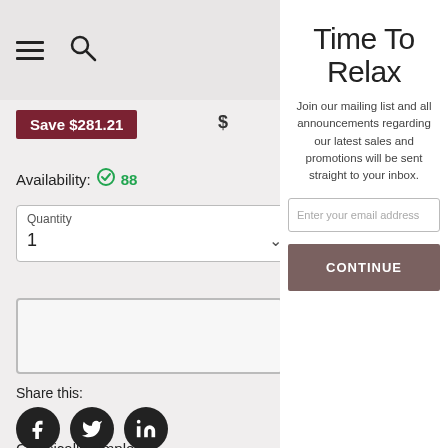[Figure (screenshot): Navigation bar with hamburger menu icon and search icon]
Save $281.21
Availability: ✓ 88
Quantity
1
Share this:
Classically simple sink, this Fresca
Time To Relax
Join our mailing list and all announcements regarding our latest sales and promotions will be sent straight to your inbox.
Enter your email address
CONTINUE